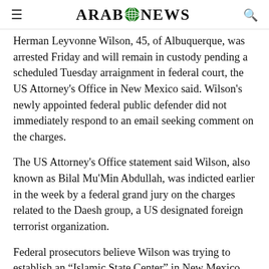ARAB NEWS
Herman Leyvonne Wilson, 45, of Albuquerque, was arrested Friday and will remain in custody pending a scheduled Tuesday arraignment in federal court, the US Attorney's Office in New Mexico said. Wilson's newly appointed federal public defender did not immediately respond to an email seeking comment on the charges.
The US Attorney's Office statement said Wilson, also known as Bilal Mu'Min Abdullah, was indicted earlier in the week by a federal grand jury on the charges related to the Daesh group, a US designated foreign terrorist organization.
Federal prosecutors believe Wilson was trying to establish an “Islamic State Center” in New Mexico that would teach Daesh group ideology,